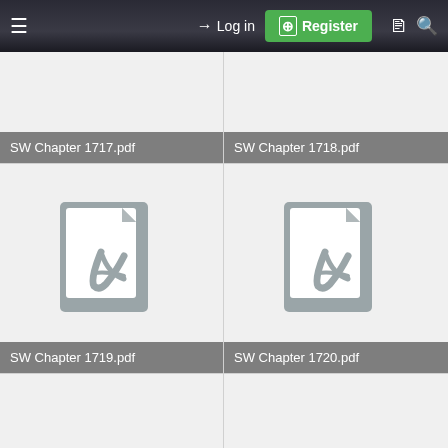≡  → Log in  ⊞ Register  🗋  🔍
SW Chapter 1717.pdf
SW Chapter 1718.pdf
[Figure (other): PDF file icon for SW Chapter 1719.pdf]
SW Chapter 1719.pdf
[Figure (other): PDF file icon for SW Chapter 1720.pdf]
SW Chapter 1720.pdf
[Figure (other): PDF file icon (partially visible) bottom-left]
[Figure (other): PDF file icon (partially visible) bottom-right]